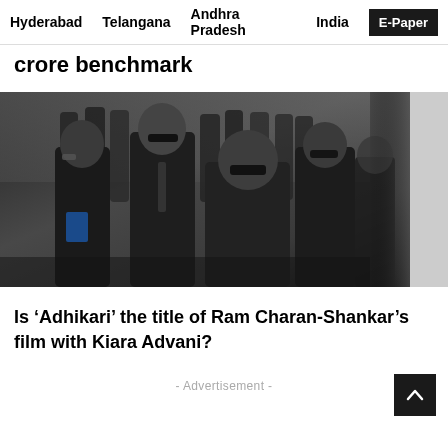Hyderabad   Telangana   Andhra Pradesh   India   E-Paper
crore benchmark
[Figure (photo): A group of men in dark suits and sunglasses walking together, resembling a movie still from 'Adhikari' featuring Ram Charan]
Is ‘Adhikari’ the title of Ram Charan-Shankar’s film with Kiara Advani?
- Advertisement -